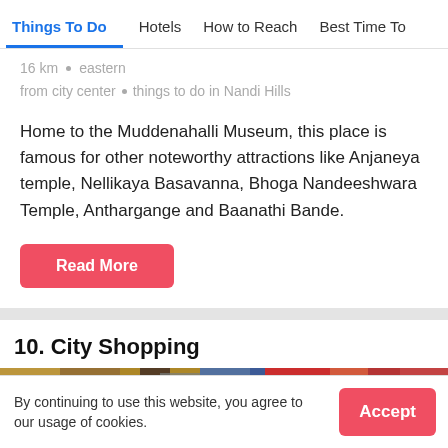Things To Do | Hotels | How to Reach | Best Time To
16 km from city center · eastern things to do in Nandi Hills
Home to the Muddenahalli Museum, this place is famous for other noteworthy attractions like Anjaneya temple, Nellikaya Basavanna, Bhoga Nandeeshwara Temple, Anthargange and Baanathi Bande.
Read More
10. City Shopping
[Figure (photo): Shopping market photo with colorful textiles and goods, rating badge showing 3.0/5]
By continuing to use this website, you agree to our usage of cookies.
Accept